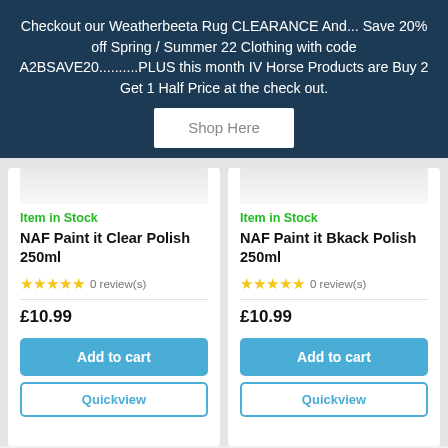Checkout our Weatherbeeta Rug CLEARANCE And... Save 20% off Spring / Summer 22 Clothing with code A2BSAVE20..........PLUS this month IV Horse Products are Buy 2 Get 1 Half Price at the check out.
Shop Here
Item in Stock
NAF Paint it Clear Polish 250ml
0 review(s)
£10.99
Add to cart
Quickview
Item in Stock
NAF Paint it Bkack Polish 250ml
0 review(s)
£10.99
Add to cart
Quickview